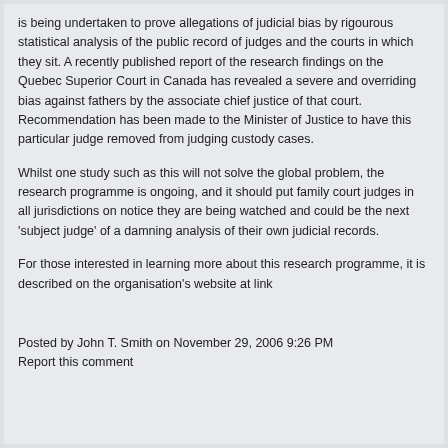is being undertaken to prove allegations of judicial bias by rigourous statistical analysis of the public record of judges and the courts in which they sit. A recently published report of the research findings on the Quebec Superior Court in Canada has revealed a severe and overriding bias against fathers by the associate chief justice of that court. Recommendation has been made to the Minister of Justice to have this particular judge removed from judging custody cases.
Whilst one study such as this will not solve the global problem, the research programme is ongoing, and it should put family court judges in all jurisdictions on notice they are being watched and could be the next 'subject judge' of a damning analysis of their own judicial records.
For those interested in learning more about this research programme, it is described on the organisation's website at link
Posted by John T. Smith on November 29, 2006 9:26 PM
Report this comment